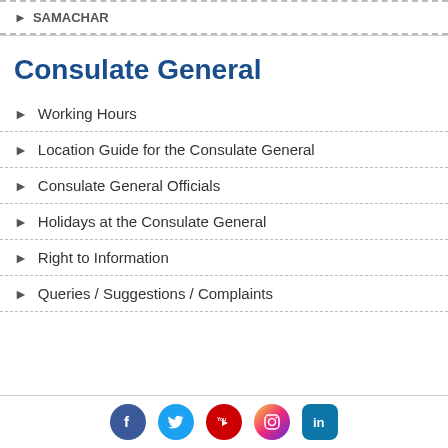► SAMACHAR
Consulate General
► Working Hours
► Location Guide for the Consulate General
► Consulate General Officials
► Holidays at the Consulate General
► Right to Information
► Queries / Suggestions / Complaints
Social media links: Facebook, Twitter, YouTube, Instagram, LinkedIn